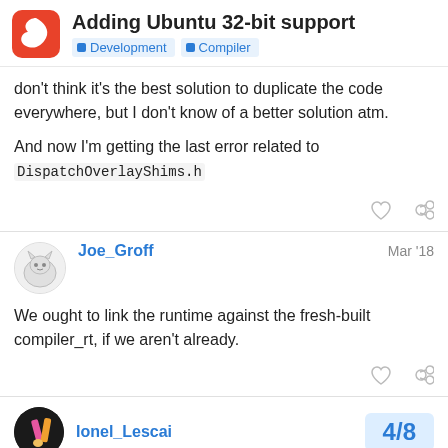Adding Ubuntu 32-bit support
don't think it's the best solution to duplicate the code everywhere, but I don't know of a better solution atm.

And now I'm getting the last error related to DispatchOverlayShims.h
Joe_Groff  Mar '18
We ought to link the runtime against the fresh-built compiler_rt, if we aren't already.
Ionel_Lescai  4/8